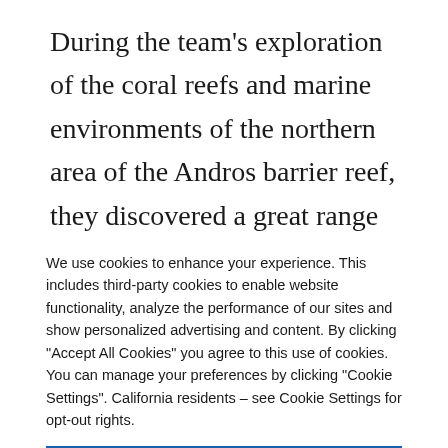During the team's exploration of the coral reefs and marine environments of the northern area of the Andros barrier reef, they discovered a great range in coral reef condition, ranging from reefs that showed signs of degradation and those that contained healthy stands of rare corals and abundant fish populations.  Some of the more pristine reefs were close to the Joulter Cays, where stands of elkhorn, staghorn, and
We use cookies to enhance your experience. This includes third-party cookies to enable website functionality, analyze the performance of our sites and show personalized advertising and content. By clicking "Accept All Cookies" you agree to this use of cookies. You can manage your preferences by clicking "Cookie Settings". California residents – see Cookie Settings for opt-out rights.
Accept Cookies
Cookie Settings